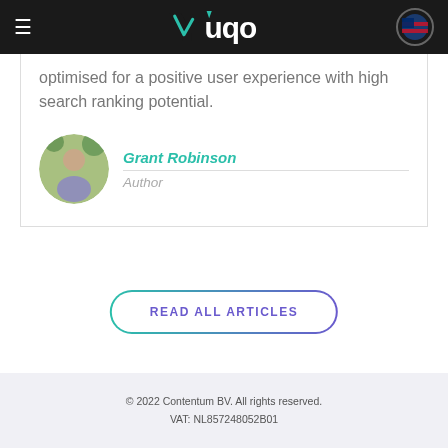YUQO
optimised for a positive user experience with high search ranking potential.
Grant Robinson
Author
[Figure (photo): Circular profile photo of Grant Robinson, a man outdoors with greenery in background]
READ ALL ARTICLES
© 2022 Contentum BV. All rights reserved.
VAT: NL857248052B01